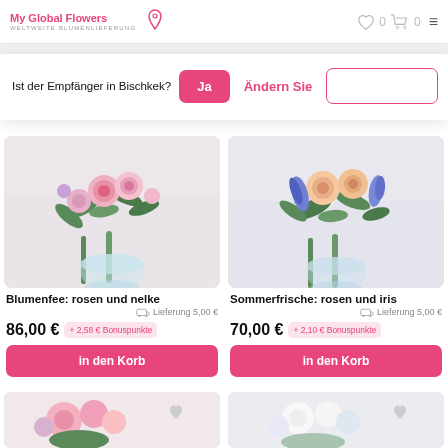My Global Flowers — WELTWEITE BLUMENLIEFERUNG
Ist der Empfänger in Bischkek? Ja | Ändern Sie
[Figure (photo): Flower bouquet with pink roses and carnations in glass vase — Blumenfee: rosen und nelke]
Blumenfee: rosen und nelke
Lieferung 5,00 €
86,00 € + 2,58 € Bonuspunkte
in den Korb
[Figure (photo): Flower bouquet with peach roses and blue iris in glass vase — Sommerfrische: rosen und iris]
Sommerfrische: rosen und iris
Lieferung 5,00 €
70,00 € + 2,10 € Bonuspunkte
in den Korb
[Figure (photo): Partial view of flower arrangement at bottom left]
[Figure (photo): Partial view of white flower arrangement at bottom right]